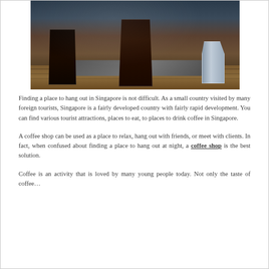[Figure (photo): Photo of iced coffee drinks in tall glasses on a wooden board with a metal pitcher, dark background]
Finding a place to hang out in Singapore is not difficult. As a small country visited by many foreign tourists, Singapore is a fairly developed country with fairly rapid development. You can find various tourist attractions, places to eat, to places to drink coffee in Singapore.
A coffee shop can be used as a place to relax, hang out with friends, or meet with clients. In fact, when confused about finding a place to hang out at night, a coffee shop is the best solution.
Coffee is an activity that is loved by many young people today. Not only the taste of coffee.